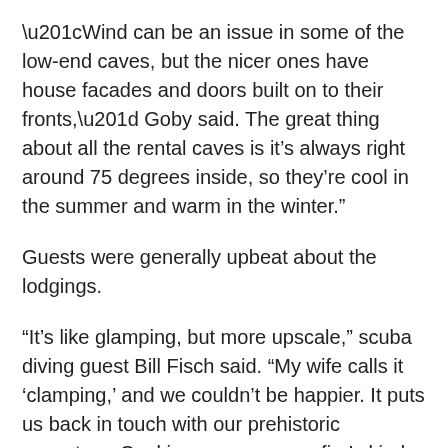“Wind can be an issue in some of the low-end caves, but the nicer ones have house facades and doors built on to their fronts,” Goby said. The great thing about all the rental caves is it’s always right around 75 degrees inside, so they’re cool in the summer and warm in the winter.”
Guests were generally upbeat about the lodgings.
“It’s like glamping, but more upscale,” scuba diving guest Bill Fisch said. “My wife calls it ‘clamping,’ and we couldn’t be happier. It puts us back in touch with our prehistoric ancestors. Cooking over an open fire’s kind of fun, too. I haven’t done that since I was little.
“The kiddos just love playing caveman,” Fisch said. “When they got rowdy last night, we gave them Crayons and had them draw sea creatures on the walls. It looks like an